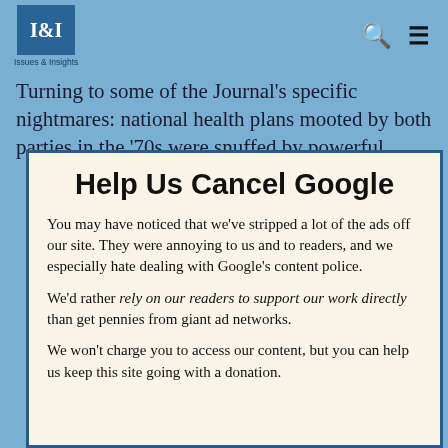Issues & Insights
Turning to some of the Journal's specific nightmares: national health plans mooted by both parties in the '70s were snuffed by powerful committee chairmen. Yet the government takeover of healthcare happened: jammed through over America's screams 10 years ago. Obamacare now boasts a favorability...
Help Us Cancel Google
You may have noticed that we've stripped a lot of the ads off our site. They were annoying to us and to readers, and we especially hate dealing with Google's content police.
We'd rather rely on our readers to support our work directly than get pennies from giant ad networks.
We won't charge you to access our content, but you can help us keep this site going with a donation.